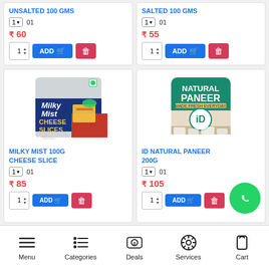UNSALTED 100 GMS
1  01
₹ 60
SALTED 100 GMS
1  01
₹ 55
[Figure (photo): Milky Mist Cheese Slices 5 slices 100g product package]
MILKY MIST 100G CHEESE SLICE
1  01
₹ 85
[Figure (photo): ID Natural Paneer 200g green package]
ID NATURAL PANEER 200G
1  01
₹ 105
Menu  Categories  Deals  Services  Cart